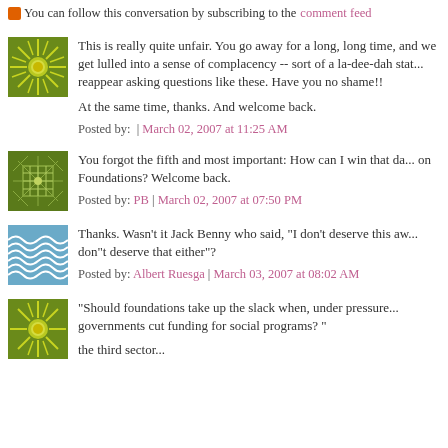You can follow this conversation by subscribing to the comment feed
This is really quite unfair. You go away for a long, long time, and we get lulled into a sense of complacency -- sort of a la-dee-dah state -- and then you reappear asking questions like these. Have you no shame!! At the same time, thanks. And welcome back.
Posted by: | March 02, 2007 at 11:25 AM
You forgot the fifth and most important: How can I win that da... on Foundations? Welcome back.
Posted by: PB | March 02, 2007 at 07:50 PM
Thanks. Wasn't it Jack Benny who said, "I don't deserve this aw... don"t deserve that either"?
Posted by: Albert Ruesga | March 03, 2007 at 08:02 AM
"Should foundations take up the slack when, under pressure... governments cut funding for social programs? " the third sector...